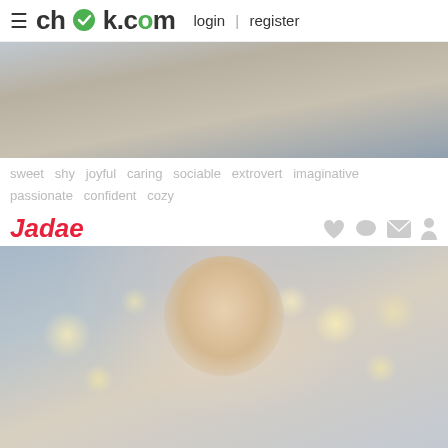chck.com login | register
[Figure (photo): Partial body photo of a person lying on a gray couch, showing a tattoo on arm/shoulder area, wearing white socks]
sweet  shy  joyful  caring  sociable  extrovert  imaginative  passionate  confident  cozy
Jadae
[Figure (photo): Profile photo of a young woman with braided pigtails and round glasses, wearing black top, sitting in front of bokeh string lights background, looking thoughtful with hand near mouth]